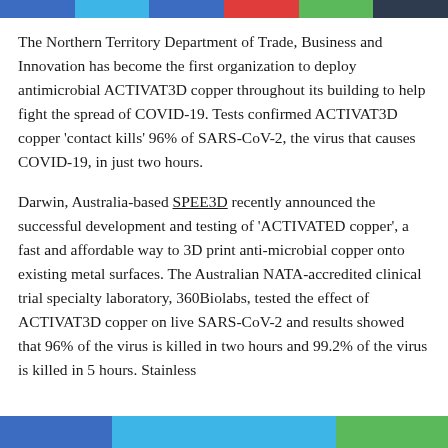The Northern Territory Department of Trade, Business and Innovation has become the first organization to deploy antimicrobial ACTIVAT3D copper throughout its building to help fight the spread of COVID-19. Tests confirmed ACTIVAT3D copper 'contact kills' 96% of SARS-CoV-2, the virus that causes COVID-19, in just two hours.
Darwin, Australia-based SPEE3D recently announced the successful development and testing of 'ACTIVATED copper', a fast and affordable way to 3D print anti-microbial copper onto existing metal surfaces. The Australian NATA-accredited clinical trial specialty laboratory, 360Biolabs, tested the effect of ACTIVAT3D copper on live SARS-CoV-2 and results showed that 96% of the virus is killed in two hours and 99.2% of the virus is killed in 5 hours. Stainless